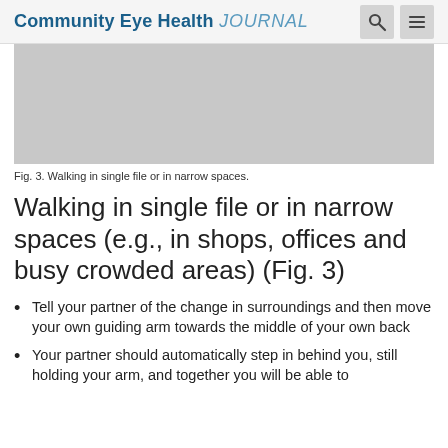Community Eye Health JOURNAL
[Figure (photo): Gray placeholder image representing Fig. 3: Walking in single file or in narrow spaces.]
Fig. 3. Walking in single file or in narrow spaces.
Walking in single file or in narrow spaces (e.g., in shops, offices and busy crowded areas) (Fig. 3)
Tell your partner of the change in surroundings and then move your own guiding arm towards the middle of your own back
Your partner should automatically step in behind you, still holding your arm, and together you will be able to